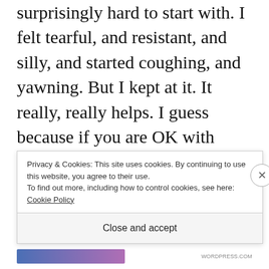surprisingly hard to start with. I felt tearful, and resistant, and silly, and started coughing, and yawning. But I kept at it. It really, really helps. I guess because if you are OK with yourself, it's much easier to see an abundance of love, joy and other good things every day; we find in the world that which we project out into it.
And these are not just tricks to get me through bad times. They can turn an average, normal day i... i...
Privacy & Cookies: This site uses cookies. By continuing to use this website, you agree to their use. To find out more, including how to control cookies, see here: Cookie Policy
Close and accept